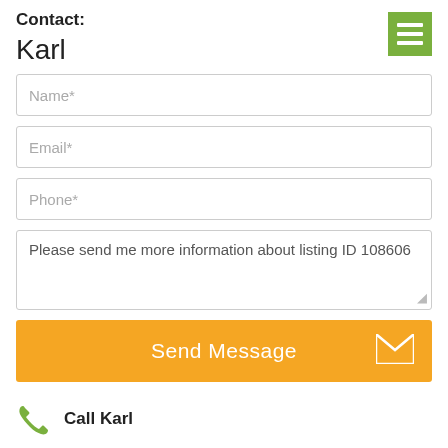Contact:
Karl
Name*
Email*
Phone*
Please send me more information about listing ID 108606
Send Message
Call Karl